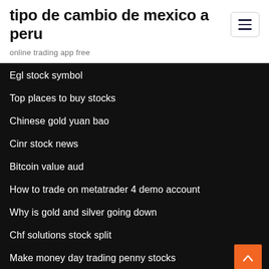tipo de cambio de mexico a peru
online trading app free
Egl stock symbol
Top places to buy stocks
Chinese gold yuan bao
Cinr stock news
Bitcoin value aud
How to trade on metatrader 4 demo account
Why is gold and silver going down
Chf solutions stock split
Make money day trading penny stocks
Silver traders surat